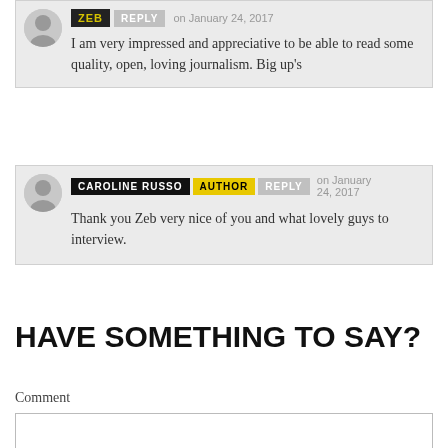ZEB | REPLY | on January 24, 2017
I am very impressed and appreciative to be able to read some quality, open, loving journalism. Big up's
CAROLINE RUSSO | AUTHOR | REPLY | on January 24, 2017
Thank you Zeb very nice of you and what lovely guys to interview.
HAVE SOMETHING TO SAY?
Comment